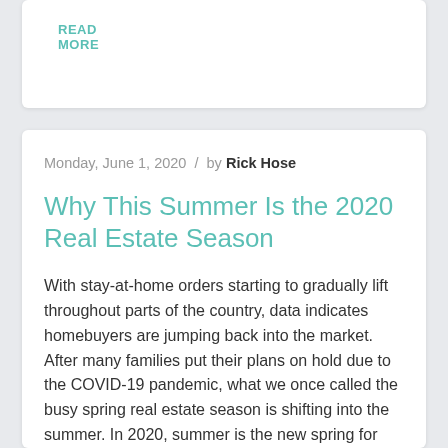READ MORE
Monday, June 1, 2020  /  by Rick Hose
Why This Summer Is the 2020 Real Estate Season
With stay-at-home orders starting to gradually lift throughout parts of the country, data indicates homebuyers are jumping back into the market. After many families put their plans on hold due to the COVID-19 pandemic, what we once called the busy spring real estate season is shifting into the summer. In 2020, summer is the new spring for real estate. Joel Kan, Economist at The Mortgage Bankers Association (MBA) notes:
“Applications for home purchases continue to recover